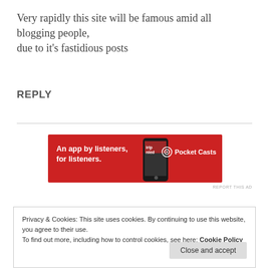Very rapidly this site will be famous amid all blogging people,
due to it's fastidious posts
REPLY
[Figure (screenshot): Pocket Casts advertisement banner with red background: 'An app by listeners, for listeners.' with phone image and Pocket Casts logo]
REPORT THIS AD
Privacy & Cookies: This site uses cookies. By continuing to use this website, you agree to their use.
To find out more, including how to control cookies, see here: Cookie Policy
Close and accept
are simply extremely fantastic. I really like what